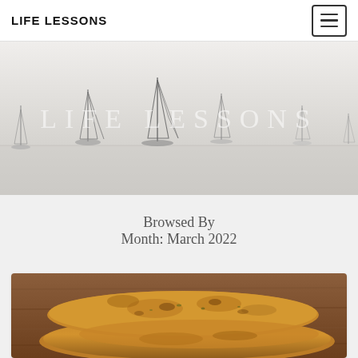LIFE LESSONS
[Figure (photo): Hero banner with sailboats in misty water and 'LIFE LESSONS' text overlay in large light serif letters]
Browsed By
Month: March 2022
[Figure (photo): Photo of flatbread/naan on a wooden surface, golden brown with char marks]